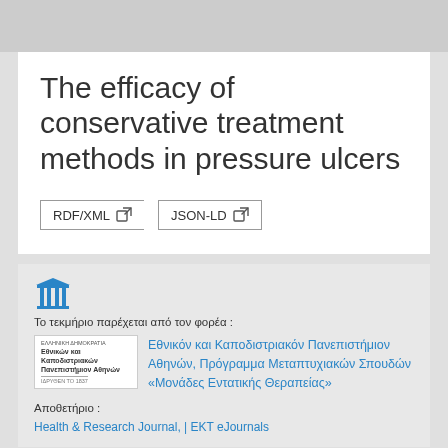The efficacy of conservative treatment methods in pressure ulcers
RDF/XML  JSON-LD
[Figure (logo): Institution pillars icon in blue]
Το τεκμήριο παρέχεται από τον φορέα :
[Figure (logo): Εθνικόν και Καποδιστριακόν Πανεπιστήμιον Αθηνών logo]
Εθνικόν και Καποδιστριακόν Πανεπιστήμιον Αθηνών, Πρόγραμμα Μεταπτυχιακών Σπουδών «Μονάδες Εντατικής Θεραπείας»
Αποθετήριο :
Health & Research Journal, | EKT eJournals